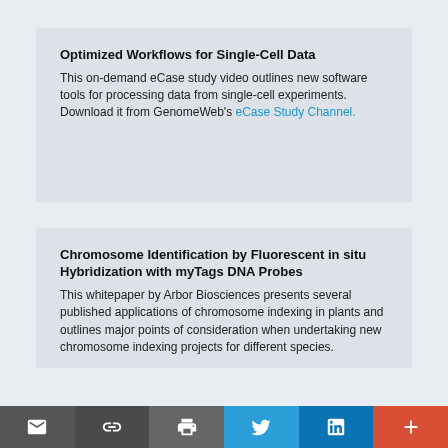Optimized Workflows for Single-Cell Data
This on-demand eCase study video outlines new software tools for processing data from single-cell experiments.
Download it from GenomeWeb's eCase Study Channel.
Chromosome Identification by Fluorescent in situ Hybridization with myTags DNA Probes
This whitepaper by Arbor Biosciences presents several published applications of chromosome indexing in plants and outlines major points of consideration when undertaking new chromosome indexing projects for different species.